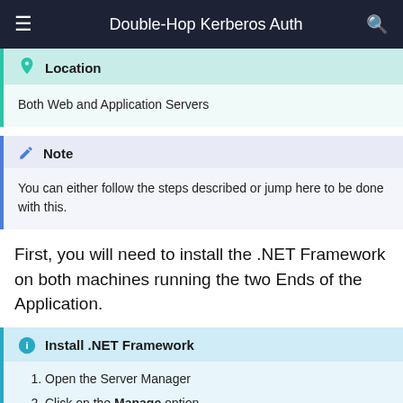Double-Hop Kerberos Auth
Location
Both Web and Application Servers
Note
You can either follow the steps described or jump here to be done with this.
First, you will need to install the .NET Framework on both machines running the two Ends of the Application.
Install .NET Framework
Open the Server Manager
Click on the Manage option
Select Add Roles and Features and skip the first page by